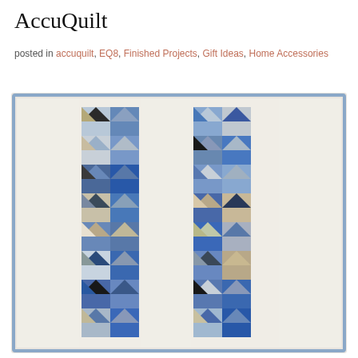AccuQuilt
posted in accuquilt, EQ8, Finished Projects, Gift Ideas, Home Accessories
[Figure (photo): A quilt with blue, gray, beige, and white geometric patchwork blocks arranged in two vertical columns of flying geese and square patterns on a cream background with a blue border.]